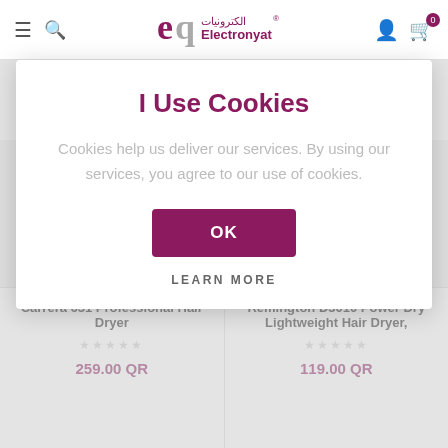Electronyat — navigation bar with hamburger, search, logo, user and cart icons
189.00 QR
99.00 QR
I Use Cookies
Cookies help us deliver our services. By using our services, you agree to our use of cookies.
OK
LEARN MORE
Carrera 631 Professional Hair Dryer
259.00 QR
Remington D3010 Power Dry Lightweight Hair Dryer,
119.00 QR